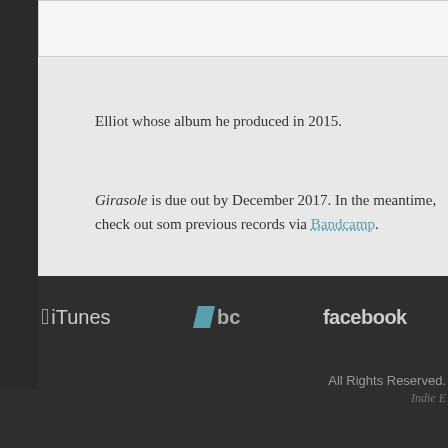Elliot whose album he produced in 2015.
Girasole is due out by December 2017. In the meantime, check out some previous records via Bandcamp.
Newer Entries
Older
[Figure (logo): iTunes logo with Apple icon]
[Figure (logo): Bandcamp bc logo]
[Figure (logo): Facebook logo text]
All Rights Reserved.
Indie E